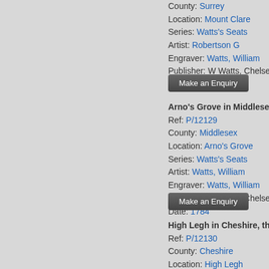County: Surrey
Location: Mount Clare
Series: Watts's Seats
Artist: Robertson G
Engraver: Watts, William
Publisher: W Watts, Chelsea
Date: 1784
[Figure (other): Make an Enquiry button]
Arno's Grove in Middlesex,
Ref: P/12129
County: Middlesex
Location: Arno's Grove
Series: Watts's Seats
Artist: Watts, William
Engraver: Watts, William
Publisher: W Watts, Chelsea
Date: 1784
[Figure (other): Make an Enquiry button]
High Legh in Cheshire, the S
Ref: P/12130
County: Cheshire
Location: High Legh
Series: Watts's Seats
Artist: Stringer S
Engraver: Watts, William